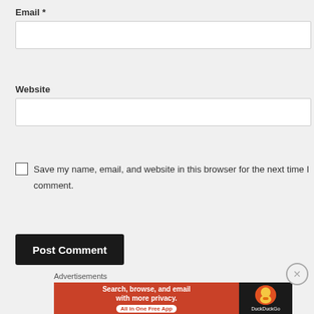Email *
[Figure (screenshot): Empty text input field for Email]
Website
[Figure (screenshot): Empty text input field for Website]
Save my name, email, and website in this browser for the next time I comment.
[Figure (screenshot): Post Comment button, black background with white text]
Advertisements
[Figure (screenshot): DuckDuckGo advertisement banner: Search, browse, and email with more privacy. All in One Free App.]